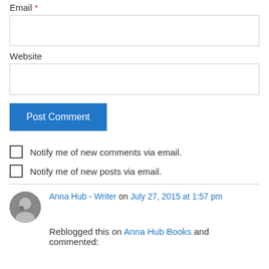Email *
Website
Post Comment
Notify me of new comments via email.
Notify me of new posts via email.
Anna Hub - Writer on July 27, 2015 at 1:57 pm
Reblogged this on Anna Hub Books and commented: